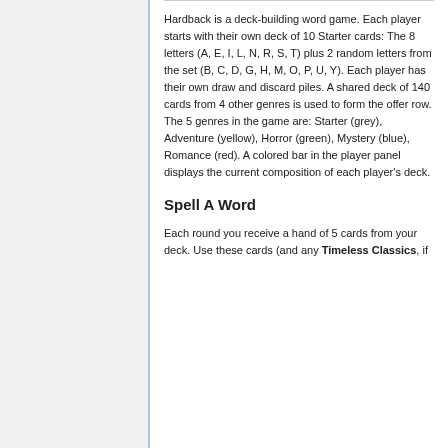Hardback is a deck-building word game. Each player starts with their own deck of 10 Starter cards: The 8 letters (A, E, I, L, N, R, S, T) plus 2 random letters from the set (B, C, D, G, H, M, O, P, U, Y). Each player has their own draw and discard piles. A shared deck of 140 cards from 4 other genres is used to form the offer row. The 5 genres in the game are: Starter (grey), Adventure (yellow), Horror (green), Mystery (blue), Romance (red). A colored bar in the player panel displays the current composition of each player's deck.
Spell A Word
Each round you receive a hand of 5 cards from your deck. Use these cards (and any Timeless Classics, if